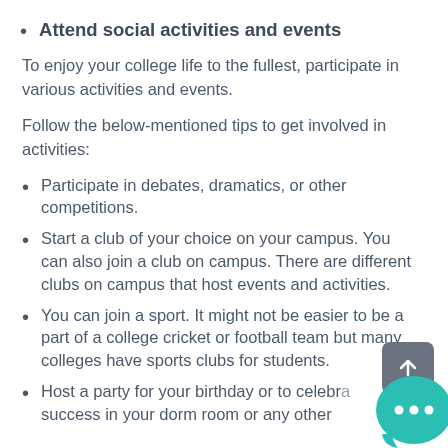Attend social activities and events
To enjoy your college life to the fullest, participate in various activities and events.
Follow the below-mentioned tips to get involved in activities:
Participate in debates, dramatics, or other competitions.
Start a club of your choice on your campus. You can also join a club on campus. There are different clubs on campus that host events and activities.
You can join a sport. It might not be easier to be a part of a college cricket or football team but many colleges have sports clubs for students.
Host a party for your birthday or to celebrate success in your dorm room or any other